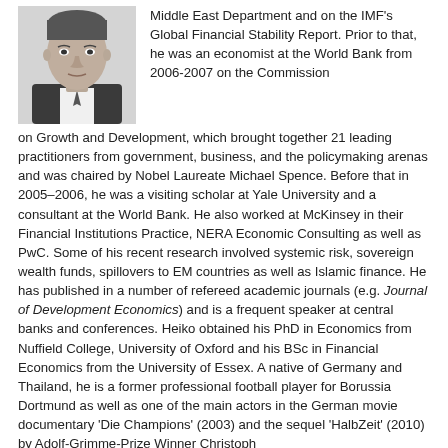[Figure (photo): Black and white headshot photo of a man in a suit]
Middle East Department and on the IMF's Global Financial Stability Report. Prior to that, he was an economist at the World Bank from 2006-2007 on the Commission on Growth and Development, which brought together 21 leading practitioners from government, business, and the policymaking arenas and was chaired by Nobel Laureate Michael Spence. Before that in 2005–2006, he was a visiting scholar at Yale University and a consultant at the World Bank. He also worked at McKinsey in their Financial Institutions Practice, NERA Economic Consulting as well as PwC. Some of his recent research involved systemic risk, sovereign wealth funds, spillovers to EM countries as well as Islamic finance. He has published in a number of refereed academic journals (e.g. Journal of Development Economics) and is a frequent speaker at central banks and conferences. Heiko obtained his PhD in Economics from Nuffield College, University of Oxford and his BSc in Financial Economics from the University of Essex. A native of Germany and Thailand, he is a former professional football player for Borussia Dortmund as well as one of the main actors in the German movie documentary 'Die Champions' (2003) and the sequel 'HalbZeit' (2010) by Adolf-Grimme-Prize Winner Christoph